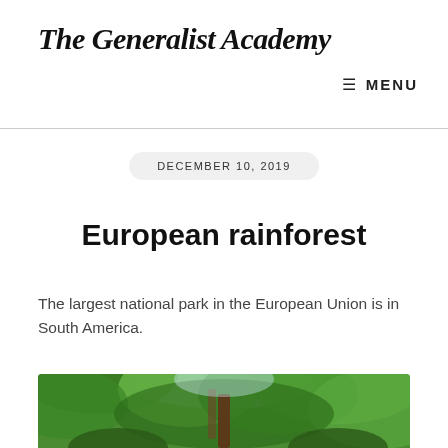The Generalist Academy
≡ MENU
DECEMBER 10, 2019
European rainforest
The largest national park in the European Union is in South America.
[Figure (photo): Looking up through a forest canopy with green leaves and trees visible against the sky, with a person or figure visible among the trees.]